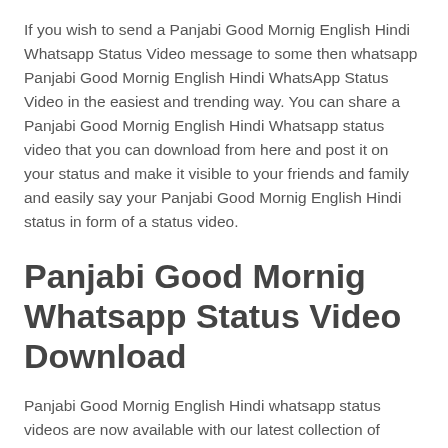If you wish to send a Panjabi Good Mornig English Hindi Whatsapp Status Video message to some then whatsapp Panjabi Good Mornig English Hindi WhatsApp Status Video in the easiest and trending way. You can share a Panjabi Good Mornig English Hindi Whatsapp status video that you can download from here and post it on your status and make it visible to your friends and family and easily say your Panjabi Good Mornig English Hindi status in form of a status video.
Panjabi Good Mornig Whatsapp Status Video Download
Panjabi Good Mornig English Hindi whatsapp status videos are now available with our latest collection of bollywood Panjabi Good Mornig...